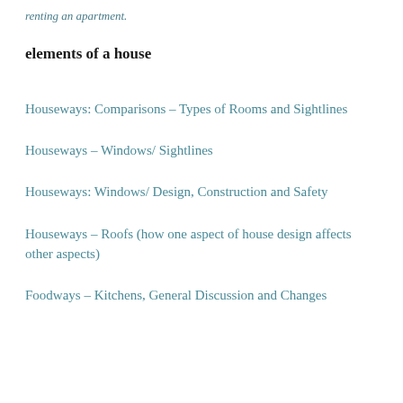renting an apartment.
elements of a house
Houseways: Comparisons – Types of Rooms and Sightlines
Houseways – Windows/ Sightlines
Houseways: Windows/ Design, Construction and Safety
Houseways – Roofs (how one aspect of house design affects other aspects)
Foodways – Kitchens, General Discussion and Changes